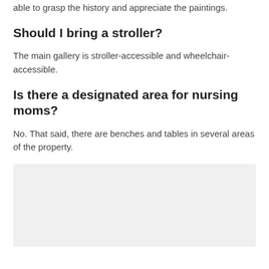able to grasp the history and appreciate the paintings.
Should I bring a stroller?
The main gallery is stroller-accessible and wheelchair-accessible.
Is there a designated area for nursing moms?
No. That said, there are benches and tables in several areas of the property.